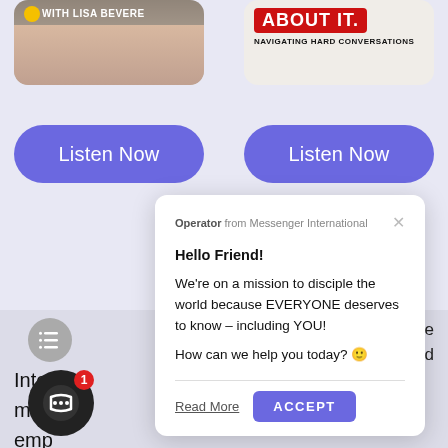[Figure (screenshot): Left podcast card showing 'with Lisa Bevere' text and a person's photo]
[Figure (screenshot): Right podcast card with 'ABOUT IT.' in red box and 'NAVIGATING HARD CONVERSATIONS' subtitle]
Listen Now
Listen Now
[Figure (screenshot): Chat popup modal from Operator from Messenger International with text: Hello Friend! We're on a mission to disciple the world because EVERYONE deserves to know – including YOU! How can we help you today? with Read More and ACCEPT buttons]
nowledge
derstand
Intereste
more
emp